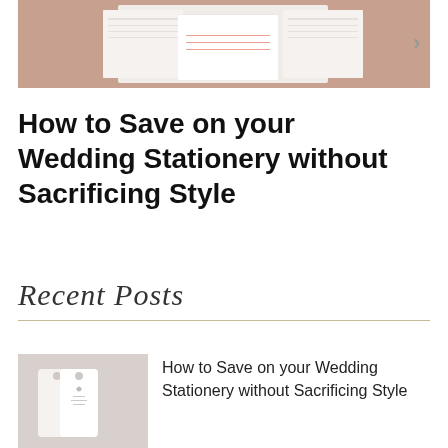[Figure (photo): Photo of wedding stationery/envelopes laid out on a surface, with a navigation arrow on the right side]
How to Save on your Wedding Stationery without Sacrificing Style
Recent Posts
[Figure (photo): Small thumbnail photo of wedding stationery tags/cards]
How to Save on your Wedding Stationery without Sacrificing Style